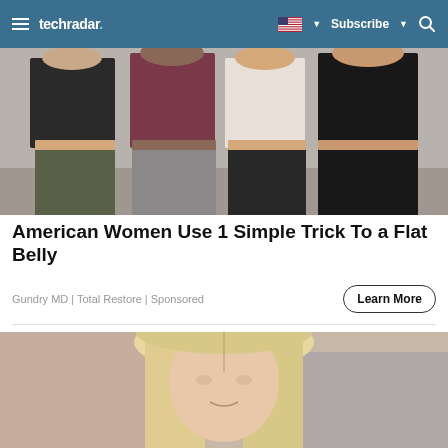techradar | Subscribe
[Figure (photo): Four women in fitness crop tops and athletic wear standing together, showing their midsections]
American Women Use 1 Simple Trick To a Flat Belly
Gundry MD | Total Restore | Sponsored
Learn More
[Figure (photo): Close-up of a blonde woman with long straight hair, blurred background]